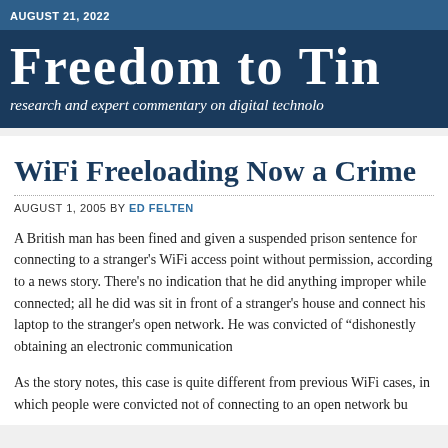AUGUST 21, 2022
Freedom to Tinker — research and expert commentary on digital technology
WiFi Freeloading Now a Crime
AUGUST 1, 2005 BY ED FELTEN
A British man has been fined and given a suspended prison sentence for connecting to a stranger's WiFi access point without permission, according to a news story. There's no indication that he did anything improper while connected; all he did was sit in front of a stranger's house and connect his laptop to the stranger's open network. He was convicted of "dishonestly obtaining an electronic communication service."
As the story notes, this case is quite different from previous WiFi cases, in which people were convicted not of connecting to an open network bu